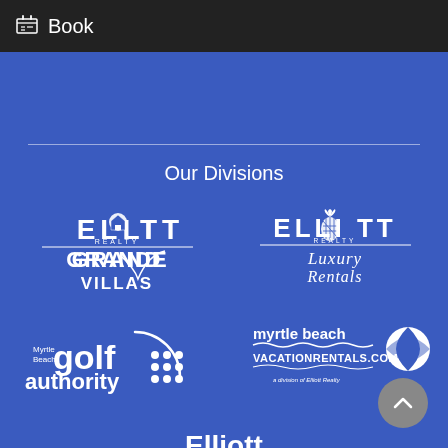Book
Our Divisions
[Figure (logo): Elliott Realty Grande Villas logo — white text on blue background with house icon]
[Figure (logo): Elliott Realty Luxury Rentals logo — white text on blue background with pineapple icon]
[Figure (logo): Myrtle Beach Golf Authority logo — white text with circular arc and dots on blue background]
[Figure (logo): myrtle beach VACATIONRENTALS.COM logo — white text with beach ball icon, a division of Elliott Realty]
[Figure (logo): Elliott CoastalLiving.com logo — white text with underline and .com cursor on blue background]